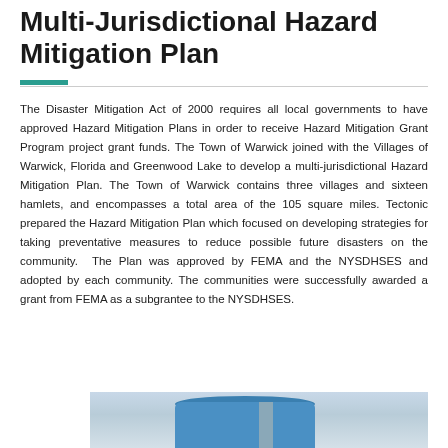Multi-Jurisdictional Hazard Mitigation Plan
The Disaster Mitigation Act of 2000 requires all local governments to have approved Hazard Mitigation Plans in order to receive Hazard Mitigation Grant Program project grant funds. The Town of Warwick joined with the Villages of Warwick, Florida and Greenwood Lake to develop a multi-jurisdictional Hazard Mitigation Plan. The Town of Warwick contains three villages and sixteen hamlets, and encompasses a total area of the 105 square miles. Tectonic prepared the Hazard Mitigation Plan which focused on developing strategies for taking preventative measures to reduce possible future disasters on the community. The Plan was approved by FEMA and the NYSDHSES and adopted by each community. The communities were successfully awarded a grant from FEMA as a subgrantee to the NYSDHSES.
[Figure (photo): Photograph of a large blue cylindrical water storage tank with a metal ladder/staircase structure on the side, set against a grey sky with bare trees visible.]